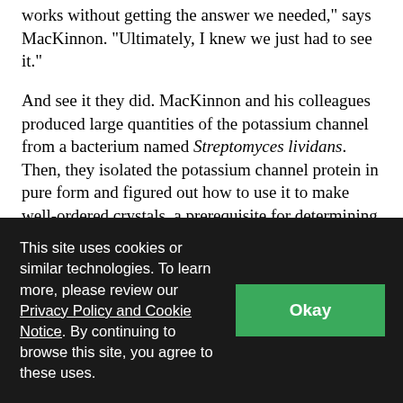works without getting the answer we needed," says MacKinnon. "Ultimately, I knew we just had to see it."
And see it they did. MacKinnon and his colleagues produced large quantities of the potassium channel from a bacterium named Streptomyces lividans. Then, they isolated the potassium channel protein in pure form and figured out how to use it to make well-ordered crystals, a prerequisite for determining a molecule's structure.
After bombarding the crystals with x-rays, MacKinnon and his colleagues were able to deduce that the [cut off]
This site uses cookies or similar technologies. To learn more, please review our Privacy Policy and Cookie Notice. By continuing to browse this site, you agree to these uses.